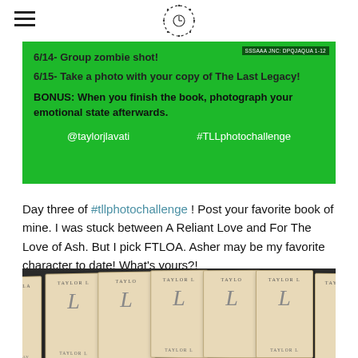[hamburger menu] [logo icon]
[Figure (screenshot): Green banner with photo challenge schedule: 6/14 Group zombie shot!, 6/15 Take a photo with your copy of The Last Legacy! BONUS: When you finish the book, photograph your emotional state afterwards. @taylorjlavati #TLLphotochallenge]
Day three of #tllphotochallenge ! Post your favorite book of mine. I was stuck between A Reliant Love and For The Love of Ash. But I pick FTLOA. Asher may be my favorite character to date! What's yours?!
[Figure (photo): Row of Taylor Lavati books fanned out on a dark surface, showing spines and covers with an ornate script L on each cover.]